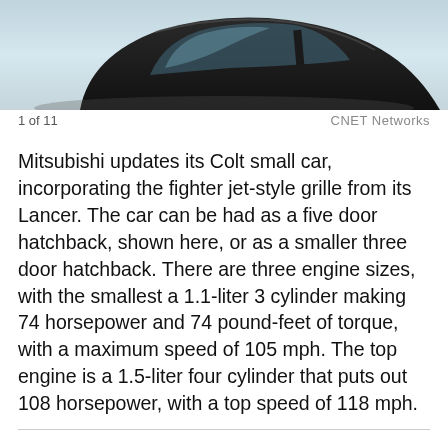[Figure (photo): Top portion of a dark-colored Mitsubishi Colt car photographed against a light blue-grey background, showing the roof and upper body.]
1 of 11	CNET Networks
Mitsubishi updates its Colt small car, incorporating the fighter jet-style grille from its Lancer. The car can be had as a five door hatchback, shown here, or as a smaller three door hatchback. There are three engine sizes, with the smallest a 1.1-liter 3 cylinder making 74 horsepower and 74 pound-feet of torque, with a maximum speed of 105 mph. The top engine is a 1.5-liter four cylinder that puts out 108 horsepower, with a top speed of 118 mph.